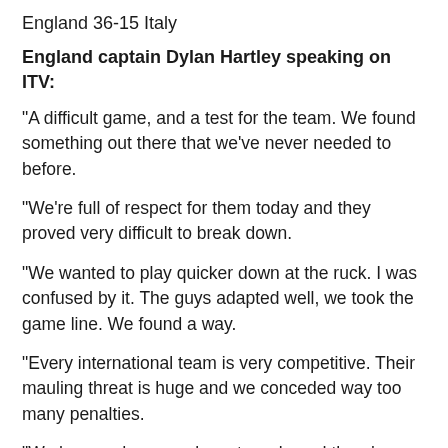England 36-15 Italy
England captain Dylan Hartley speaking on ITV:
"A difficult game, and a test for the team. We found something out there that we've never needed to before.
"We're full of respect for them today and they proved very difficult to break down.
"We wanted to play quicker down at the ruck. I was confused by it. The guys adapted well, we took the game line. We found a way.
"Every international team is very competitive. Their mauling threat is huge and we conceded way too many penalties.
"We have a down week next week, and there's plenty for us to work on."